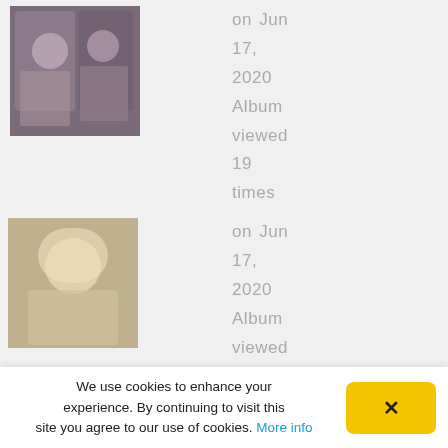[Figure (photo): Thumbnail photo of two women, left album]
on Jun 17, 2020 Album viewed 19 times
[Figure (photo): Thumbnail photo of blonde woman, right album]
on Jun 17, 2020 Album viewed 12 times
09x07 - Our White Coats
09x08 - Our Couples
162 files, last one
185 files, last one
We use cookies to enhance your experience. By continuing to visit this site you agree to our use of cookies. More info